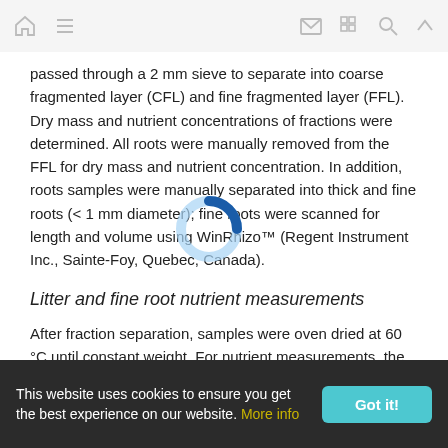[Navigation bar with home, menu, mail, grid, search, and up icons]
passed through a 2 mm sieve to separate into coarse fragmented layer (CFL) and fine fragmented layer (FFL). Dry mass and nutrient concentrations of fractions were determined. All roots were manually removed from the FFL for dry mass and nutrient concentration. In addition, roots samples were manually separated into thick and fine roots (< 1 mm diameter); fine roots were scanned for length and volume using WinRhizo™ (Regent Instrument Inc., Sainte-Foy, Quebec, Canada).
Litter and fine root nutrient measurements
After fraction separation, samples were oven dried at 60 °C until constant weight. For nutrient measurements, the dry
This website uses cookies to ensure you get the best experience on our website. More info  Got it!